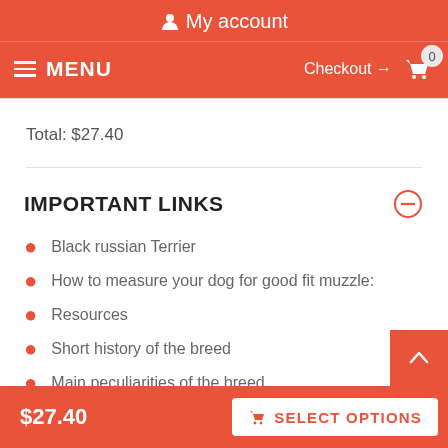My account
MENU  Checkout → 0
Total: $27.40
IMPORTANT LINKS
Black russian Terrier
How to measure your dog for good fit muzzle:
Resources
Short history of the breed
Main peculiarities of the breed
$27.40  SELECT OPTIONS